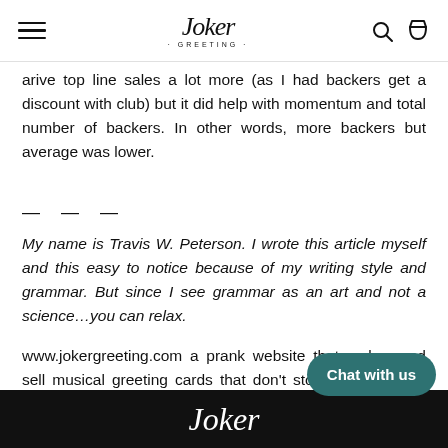Joker Greeting
arive top line sales a lot more (as I had backers get a discount with club) but it did help with momentum and total number of backers. In other words, more backers but average was lower.
— — —
My name is Travis W. Peterson. I wrote this article myself and this easy to notice because of my writing style and grammar. But since I see grammar as an art and not a science…you can relax.
www.jokergreeting.com a prank website that makes and sell musical greeting cards that don't stop playing music until they are broken. And that's the point.
[Figure (logo): Joker Greeting logo on dark background at bottom of page]